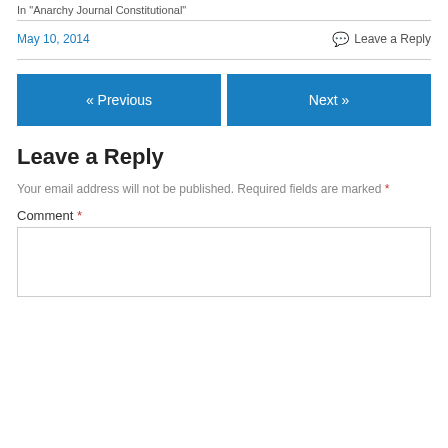In "Anarchy Journal Constitutional"
May 10, 2014    Leave a Reply
« Previous    Next »
Leave a Reply
Your email address will not be published. Required fields are marked *
Comment *